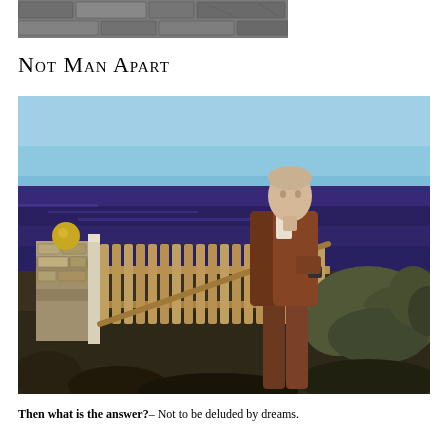[Figure (photo): Partial top image showing what appears to be a stone or brick wall texture, cropped at the top of the page]
Not Man Apart
[Figure (photo): A man in a brown suit stands leaning against a wooden picket gate fence with the ocean and blue sky in the background. Stone wall on the left, shrubs on the right. The man holds what appears to be a cup.]
Then what is the answer?– Not to be deluded by dreams.